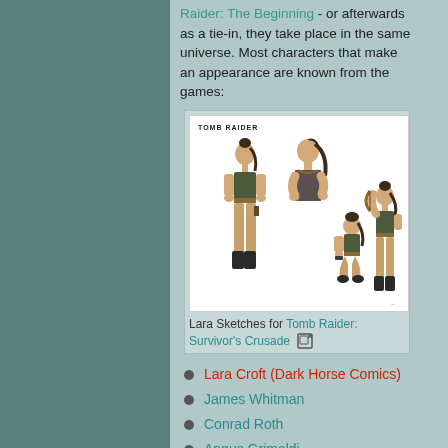Raider: The Beginning - or afterwards as a tie-in, they take place in the same universe. Most characters that make an appearance are known from the games:
[Figure (illustration): Lara Croft character sketches showing multiple poses and angles for Tomb Raider: Survivor's Crusade. Shows full-body front view, upper body side view, crouching pose, and standing pose with bow.]
Lara Sketches for Tomb Raider: Survivor's Crusade
Lara Croft (Dark Horse Comics)
James Whitman
Conrad Roth
Angus Grimaldi
Joslin Reyes